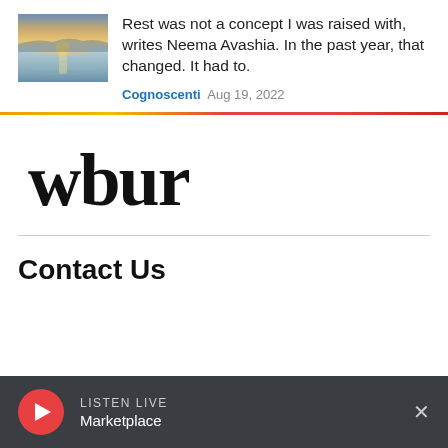[Figure (photo): Thumbnail photo of a sunset over a calm lake with warm sky reflections]
Rest was not a concept I was raised with, writes Neema Avashia. In the past year, that changed. It had to.
Cognoscenti  Aug 19, 2022
[Figure (other): Horizontal gradient line from yellow-orange to red, used as a section divider]
[Figure (logo): WBUR logo in large bold serif font]
Contact Us
LISTEN LIVE  Marketplace